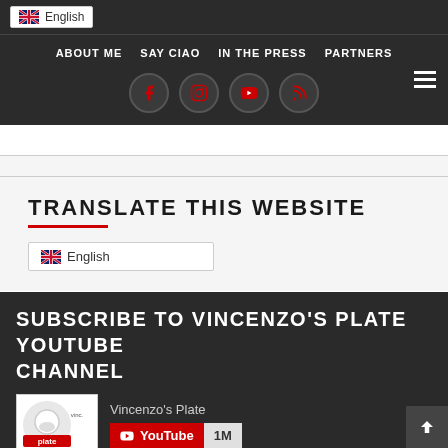English (language selector)
ABOUT ME  SAY CIAO  IN THE PRESS  PARTNERS
[Figure (screenshot): Social media icons: Facebook, Instagram, YouTube, RSS feed — circular dark buttons]
TRANSLATE THIS WEBSITE
English (dropdown selector)
SUBSCRIBE TO VINCENZO'S PLATE YOUTUBE CHANNEL
[Figure (screenshot): YouTube subscribe widget showing Vincenzo's Plate channel logo, channel name, YouTube subscribe button in red with 1M subscribers count]